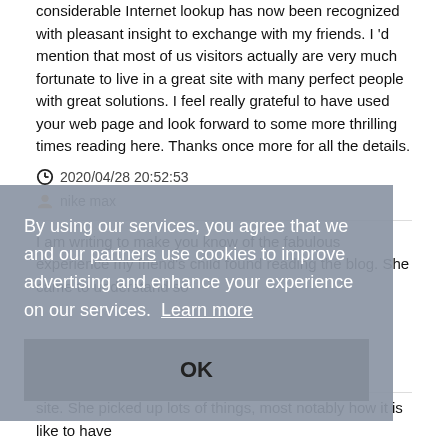considerable Internet lookup has now been recognized with pleasant insight to exchange with my friends. I 'd mention that most of us visitors actually are very much fortunate to live in a great site with many perfect people with great solutions. I feel really grateful to have used your web page and look forward to some more thrilling times reading here. Thanks once more for all the details.
2020/04/28 20:52:53
nike max
I am writing to make you know of the fabulous experience my friend's child found reading the blog. She came to understand so ...
[Figure (screenshot): Cookie consent banner overlay with text: 'By using our services, you agree that we and our [partners] use cookies to improve advertising and enhance your experience on our services. Learn more' and an OK button below.]
site. She picked up lots of things, most notably how it is like to have